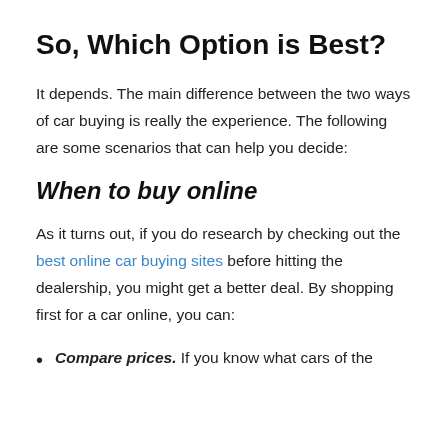So, Which Option is Best?
It depends. The main difference between the two ways of car buying is really the experience. The following are some scenarios that can help you decide:
When to buy online
As it turns out, if you do research by checking out the best online car buying sites before hitting the dealership, you might get a better deal. By shopping first for a car online, you can:
Compare prices. If you know what cars of the